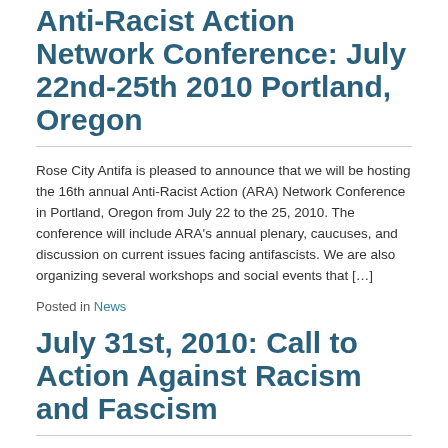Announcing the 16th Annual Anti-Racist Action Network Conference: July 22nd-25th 2010 Portland, Oregon
Rose City Antifa is pleased to announce that we will be hosting the 16th annual Anti-Racist Action (ARA) Network Conference in Portland, Oregon from July 22 to the 25, 2010. The conference will include ARA's annual plenary, caucuses, and discussion on current issues facing antifascists. We are also organizing several workshops and social events that […]
Posted in News
July 31st, 2010: Call to Action Against Racism and Fascism